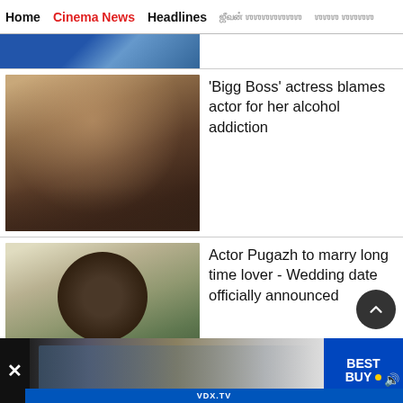Home | Cinema News | Headlines | [Tamil script] | [Tamil script]
[Figure (photo): Partial view of a person against a blue background — top of page, cropped]
'Bigg Boss' actress blames actor for her alcohol addiction
[Figure (photo): Actress with curly brown hair posing against a stone wall]
Actor Pugazh to marry long time lover - Wedding date officially announced
[Figure (photo): Actor Pugazh with big curly hair wearing sunglasses and yellow shirt]
Chiyaan Vikram to make
[Figure (photo): Partial view of Chiyaan Vikram near a car, image cropped at bottom]
[Figure (screenshot): Video ad banner at the bottom: Best Buy advertisement with VDX.TV label and people in background]